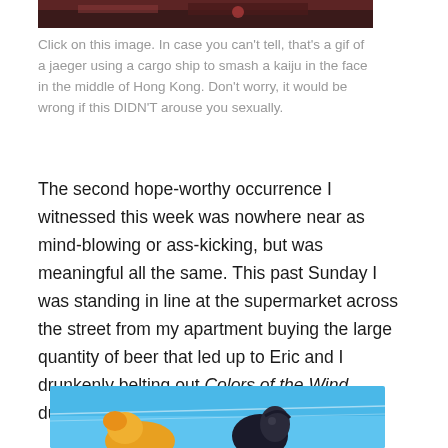[Figure (photo): Partial top image showing dark scene, cropped at top of page]
Click on this image. In case you can't tell, that's a gif of a jaeger using a cargo ship to smash a kaiju in the face in the middle of Hong Kong. Don't worry, it would be wrong if this DIDN'T arouse you sexually.
The second hope-worthy occurrence I witnessed this week was nowhere near as mind-blowing or ass-kicking, but was meaningful all the same. This past Sunday I was standing in line at the supermarket across the street from my apartment buying the large quantity of beer that led up to Eric and I drunkenly belting out Colors of the Wind during this week's episode.
[Figure (illustration): Colorful illustration with blue sky background, showing orange and dark colored cartoon or animated characters]